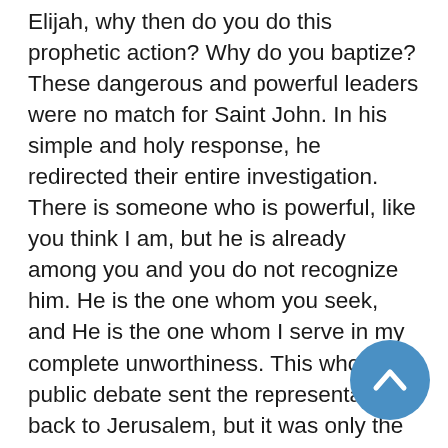Elijah, why then do you do this prophetic action? Why do you baptize?  These dangerous and powerful leaders were no match for Saint John.  In his simple and holy response, he redirected their entire investigation.  There is someone who is powerful, like you think I am, but he is already among you and you do not recognize him.  He is the one whom you seek, and He is the one whom I serve in my complete unworthiness.  This whole public debate sent the representatives back to Jerusalem, but it was only the beginning of many years of questioning about the identity of Jesus the Christ.  Still, in our day many find these debates unnerving to say the least.  Others use this discomfort to create a public persona for themselves.  In the final analysis it still takes faith, a gift of God, to come to know Christ the Lord the Eternally Begotten Son of the Father who became man in the womb of the Virgin Mary by the Holy Spirit.
[Figure (other): A circular blue back-to-top navigation button with a white upward-pointing chevron arrow, positioned in the bottom-right corner overlapping the text.]